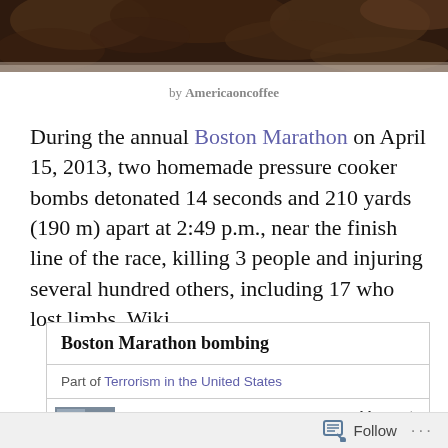[Figure (photo): Dark brown header image showing what appears to be animals or natural texture background]
by Americaoncoffee
During the annual Boston Marathon on April 15, 2013, two homemade pressure cooker bombs detonated 14 seconds and 210 yards (190 m) apart at 2:49 p.m., near the finish line of the race, killing 3 people and injuring several hundred others, including 17 who lost limbs. Wiki
| Boston Marathon bombing |
| --- |
| Part of Terrorism in the United States |
| [thumbnail image] Moments |
Follow ...